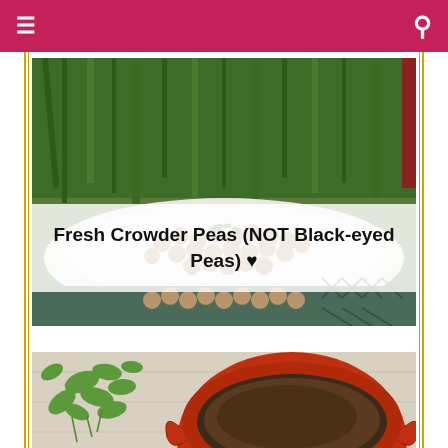Navigation bar with menu and search icons
[Figure (photo): Overhead photo of fresh crowder peas in a white bowl/plate on a table, with green plants in the background. A semi-transparent white band overlays the center of the image with the title text.]
Fresh Crowder Peas (NOT Black-eyed Peas) ♥
[Figure (photo): Photo of a red/orange Dutch oven or cast iron pot with soup/stew, next to fresh cilantro or parsley on a white wooden surface.]